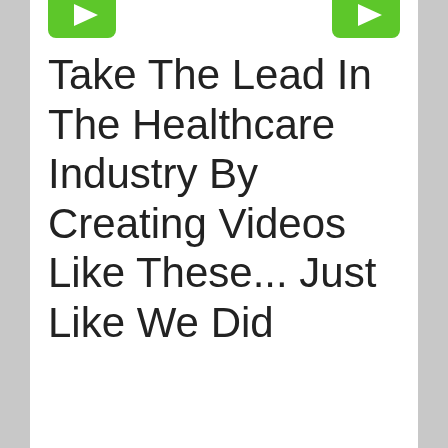[Figure (illustration): Two green play button icons at the top of the page, partially cropped]
Take The Lead In The Healthcare Industry By Creating Videos Like These... Just Like We Did